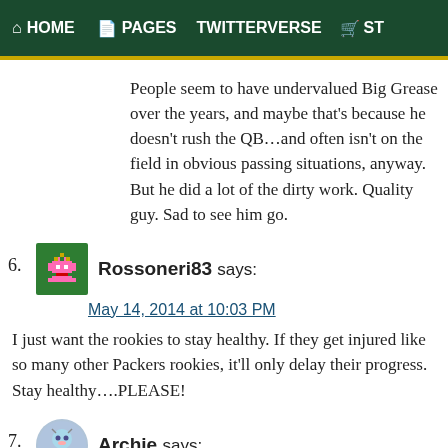HOME  PAGES  TWITTERVERSE  ST
People seem to have undervalued Big Grease over the years, and maybe that's because he doesn't rush the QB…and often isn't on the field in obvious passing situations, anyway. But he did a lot of the dirty work. Quality guy. Sad to see him go.
6. Rossoneri83 says:
May 14, 2014 at 10:03 PM
I just want the rookies to stay healthy. If they get injured like so many other Packers rookies, it'll only delay their progress. Stay healthy….PLEASE!
7. Archie says:
May 14, 2014 at 10:43 PM